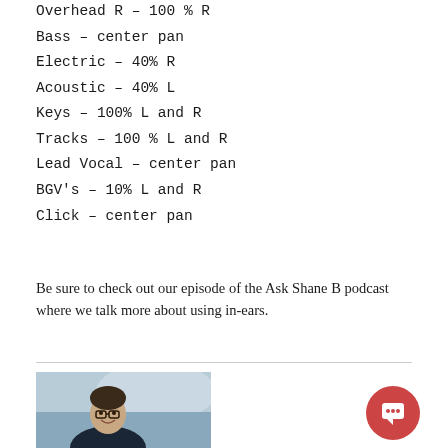Overhead R – 100 % R
Bass – center pan
Electric – 40% R
Acoustic – 40% L
Keys – 100% L and R
Tracks – 100 % L and R
Lead Vocal – center pan
BGV's – 10% L and R
Click – center pan
Be sure to check out our episode of the Ask Shane B podcast where we talk more about using in-ears.
[Figure (photo): Smiling man with glasses wearing a dark jacket, photo in a light blue/grey tone]